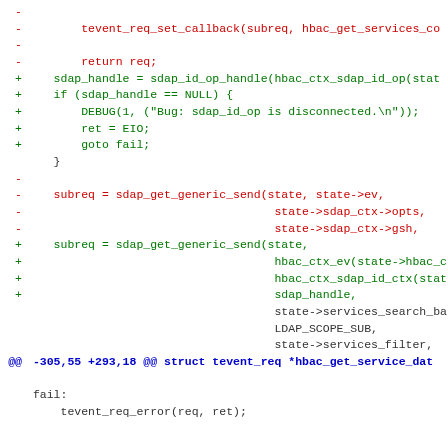Code diff showing removed and added lines in C code, including tevent_req_set_callback, sdap_id_op_handle, sdap_get_generic_send, and hunk header @@ -305,55 +293,18 @@ struct tevent_req *hbac_get_service_dat, followed by fail: and tevent_req_error(req, ret);